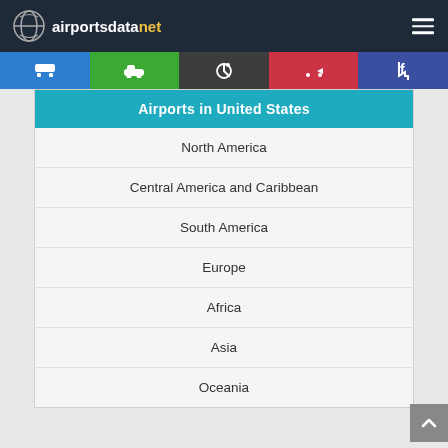airportsdatanet
Airports in United States
North America
Central America and Caribbean
South America
Europe
Africa
Asia
Oceania